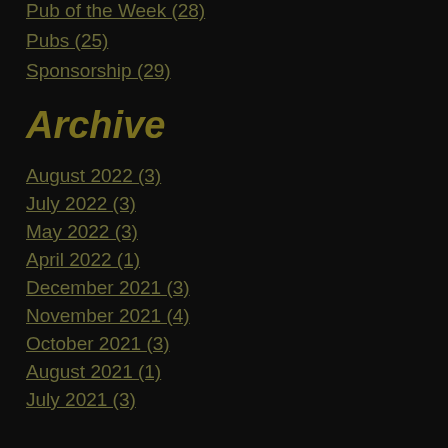Pub of the Week (28)
Pubs (25)
Sponsorship (29)
Archive
August 2022 (3)
July 2022 (3)
May 2022 (3)
April 2022 (1)
December 2021 (3)
November 2021 (4)
October 2021 (3)
August 2021 (1)
July 2021 (3)